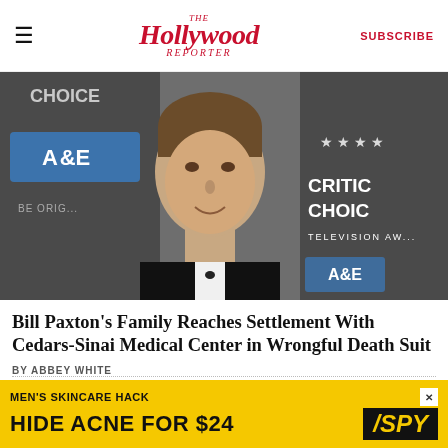THE Hollywood Reporter | SUBSCRIBE
[Figure (photo): Bill Paxton in a black tuxedo with bow tie at what appears to be the Critics Choice Television Awards, with A&E and Critics Choice backdrop visible]
Bill Paxton's Family Reaches Settlement With Cedars-Sinai Medical Center in Wrongful Death Suit
BY ABBEY WHITE
[Figure (photo): Small thumbnail image showing a phone or device, related to social media article]
Instagram, Snapchat, TikTok Cause Mental Health Problems in Teens
[Figure (other): Advertisement banner: MEN'S SKINCARE HACK / HIDE ACNE FOR $24 — SPY]